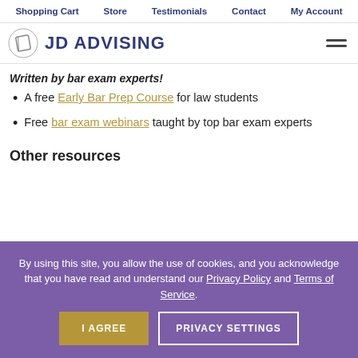Shopping Cart  Store  Testimonials  Contact  My Account
[Figure (logo): JD Advising logo with book icon and hamburger menu]
Written by bar exam experts!
A free Early Bar Prep Course for law students
Free bar exam webinars taught by top bar exam experts
Other resources
By using this site, you allow the use of cookies, and you acknowledge that you have read and understand our Privacy Policy and Terms of Service.
I AGREE  PRIVACY SETTINGS